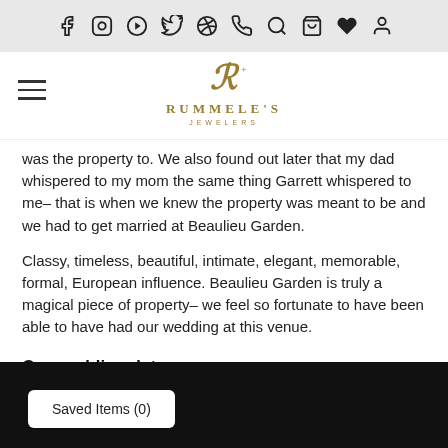Navigation icons: Facebook, Instagram, YouTube, Twitter, Pinterest, Phone, Search, Bag, Wishlist, Account
[Figure (logo): Rummele's Jewelers logo with stylized R monogram above brand name]
was the property to. We also found out later that my dad whispered to my mom the same thing Garrett whispered to me– that is when we knew the property was meant to be and we had to get married at Beaulieu Garden.
Classy, timeless, beautiful, intimate, elegant, memorable, formal, European influence. Beaulieu Garden is truly a magical piece of property– we feel so fortunate to have been able to have had our wedding at this venue.
Our wedding date was:
August 17, 2019
Saved Items (0)